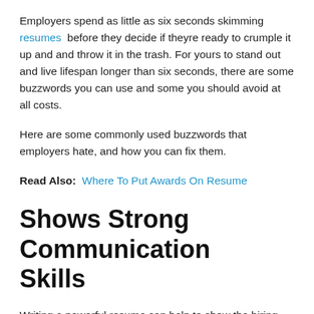Employers spend as little as six seconds skimming resumes before they decide if theyre ready to crumple it up and and throw it in the trash. For yours to stand out and live lifespan longer than six seconds, there are some buzzwords you can use and some you should avoid at all costs.
Here are some commonly used buzzwords that employers hate, and how you can fix them.
Read Also:  Where To Put Awards On Resume
Shows Strong Communication Skills
Writing a powerful resume can help to show the hiring